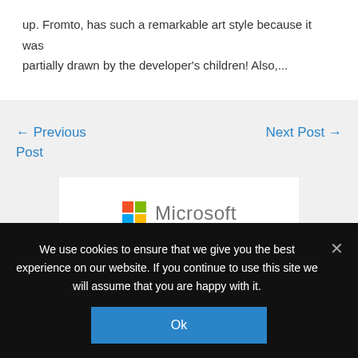up. Fromto, has such a remarkable art style because it was partially drawn by the developer's children! Also,...
← Previous Post
Next Post →
[Figure (logo): Microsoft logo with four colored squares (red, green, blue, yellow) and the word Microsoft in gray]
We use cookies to ensure that we give you the best experience on our website. If you continue to use this site we will assume that you are happy with it.
Ok